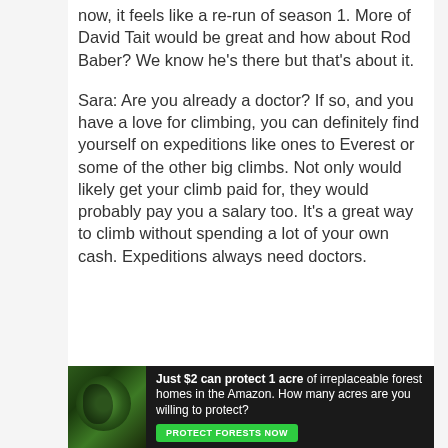now, it feels like a re-run of season 1. More of David Tait would be great and how about Rod Baber? We know he's there but that's about it.
Sara: Are you already a doctor? If so, and you have a love for climbing, you can definitely find yourself on expeditions like ones to Everest or some of the other big climbs. Not only would likely get your climb paid for, they would probably pay you a salary too. It's a great way to climb without spending a lot of your own cash. Expeditions always need doctors.
[Figure (infographic): Advertisement banner with dark forest background image on left and text: 'Just $2 can protect 1 acre of irreplaceable forest homes in the Amazon. How many acres are you willing to protect?' with a green 'PROTECT FORESTS NOW' button.]